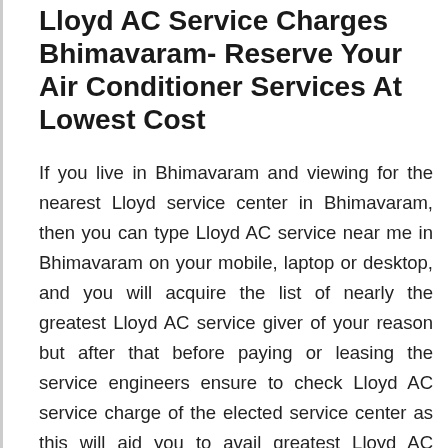Lloyd AC Service Charges Bhimavaram- Reserve Your Air Conditioner Services At Lowest Cost
If you live in Bhimavaram and viewing for the nearest Lloyd service center in Bhimavaram, then you can type Lloyd AC service near me in Bhimavaram on your mobile, laptop or desktop, and you will acquire the list of nearly the greatest Lloyd AC service giver of your reason but after that before paying or leasing the service engineers ensure to check Lloyd AC service charge of the elected service center as this will aid you to avail greatest Lloyd AC service at the greatest and economical Lloyd AC service charges Bhimavaram Are you viewing for the nearest Lloyd AC service center in Bhimavaram? Don't worry; we will aid you to find the nearest greatest AC service center in Bhimavaram, so for this, pick your mobile